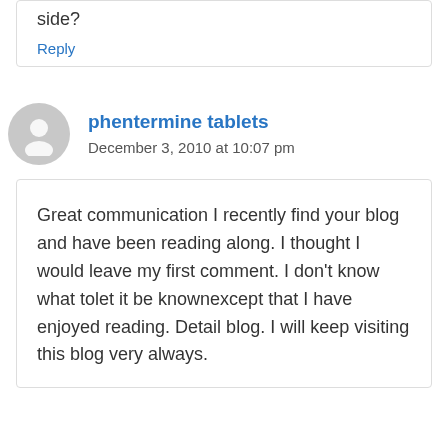side?
Reply
phentermine tablets
December 3, 2010 at 10:07 pm
Great communication I recently find your blog and have been reading along. I thought I would leave my first comment. I don't know what tolet it be knownexcept that I have enjoyed reading. Detail blog. I will keep visiting this blog very always.